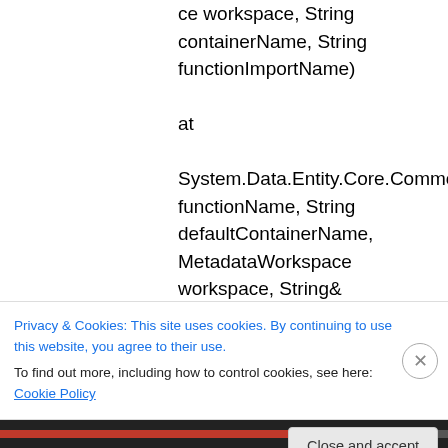ce workspace, String containerName, String functionImportName)
   at
System.Data.Entity.Core.Common.Utils.MetadataHelper.GetFunctionImport(String functionName, String defaultContainerName, MetadataWorkspace workspace, String& containerName, String& functionImportName)
   at
System.Data.Entity.Core.Objects.ObjectContext.CreateEntityCommandForFunctionImport(String
Privacy & Cookies: This site uses cookies. By continuing to use this website, you agree to their use.
To find out more, including how to control cookies, see here: Cookie Policy